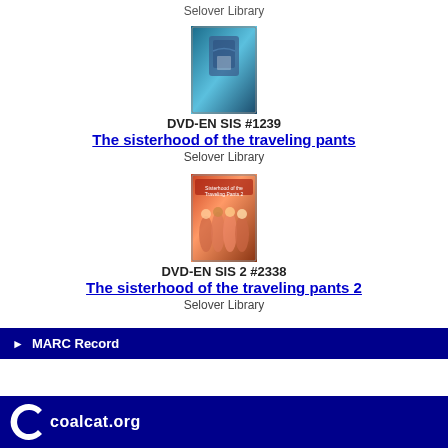Selover Library
[Figure (photo): DVD cover for The Sisterhood of the Traveling Pants]
DVD-EN SIS #1239
The sisterhood of the traveling pants
Selover Library
[Figure (photo): DVD cover for The Sisterhood of the Traveling Pants 2]
DVD-EN SIS 2 #2338
The sisterhood of the traveling pants 2
Selover Library
► MARC Record
coalcat.org